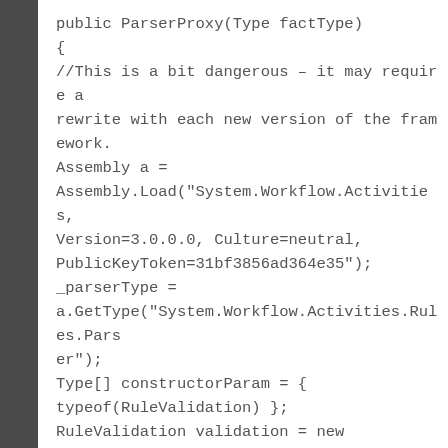public ParserProxy(Type factType)
{
//This is a bit dangerous – it may require a rewrite with each new version of the framework.
Assembly a = Assembly.Load("System.Workflow.Activities, Version=3.0.0.0, Culture=neutral, PublicKeyToken=31bf3856ad364e35");
_parserType = a.GetType("System.Workflow.Activities.Rules.Parser");
Type[] constructorParam = { typeof(RuleValidation) };
RuleValidation validation = new RuleValidation(factType, null);
object[] callParams = { validation };
ConstructorInfo ci =